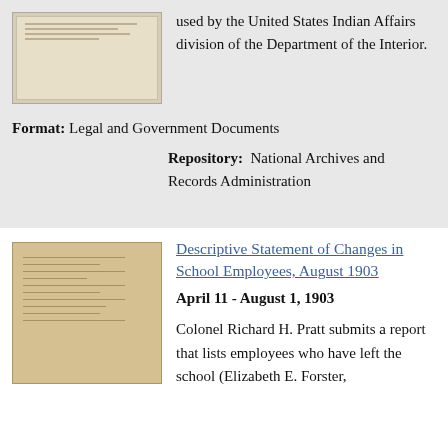[Figure (photo): Thumbnail image of a historical document with text lines visible]
used by the United States Indian Affairs division of the Department of the Interior.
Format: Legal and Government Documents
Repository: National Archives and Records Administration
[Figure (photo): Thumbnail image of an open booklet or ledger document with handwritten lines]
Descriptive Statement of Changes in School Employees, August 1903
April 11 - August 1, 1903
Colonel Richard H. Pratt submits a report that lists employees who have left the school (Elizabeth E. Forster,